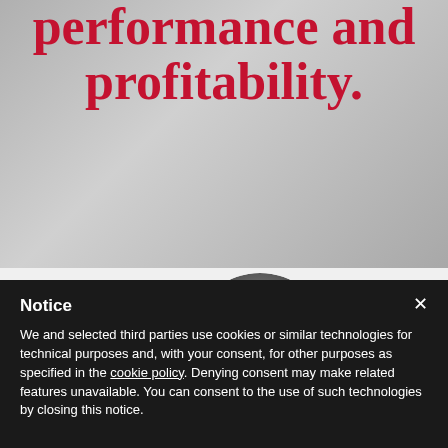performance and profitability.
[Figure (photo): Grayscale background photo of people, partially visible, with large red opening quotation marks overlaid in the lower portion]
Notice
We and selected third parties use cookies or similar technologies for technical purposes and, with your consent, for other purposes as specified in the cookie policy. Denying consent may make related features unavailable. You can consent to the use of such technologies by closing this notice.